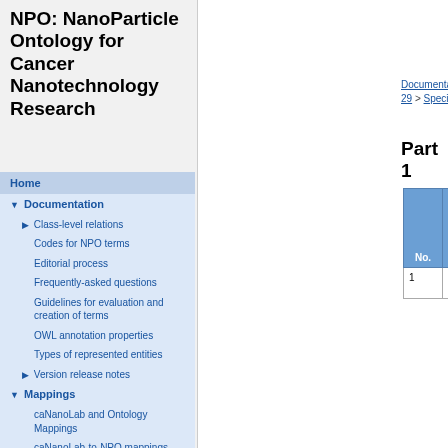NPO: NanoParticle Ontology for Cancer Nanotechnology Research
Home
Documentation
Class-level relations
Codes for NPO terms
Editorial process
Frequently-asked questions
Guidelines for evaluation and creation of terms
OWL annotation properties
Types of represented entities
Version release notes
Mappings
caNanoLab and Ontology Mappings
caNanoLab-to-NPO mappings
External vocabulary mappings
Documentation > Version release notes > 2010-01-29 > Specific changes to classes >
Part 1
| No. | Code | Name |
| --- | --- | --- |
| 1 | NPO_1378 | HYDROGEL NANOPARTICLE |